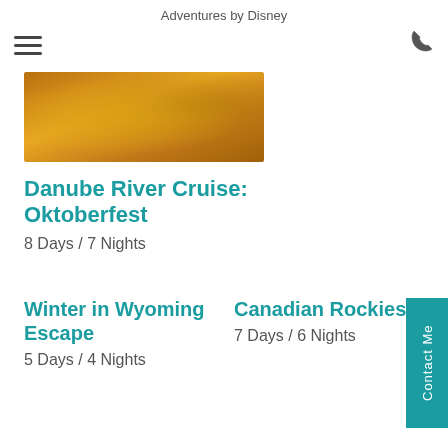Adventures by Disney
[Figure (photo): Close-up photo of golden beer mugs being clinked together, Oktoberfest themed]
Danube River Cruise: Oktoberfest
8 Days / 7 Nights
Winter in Wyoming Escape
5 Days / 4 Nights
Canadian Rockies
7 Days / 6 Nights